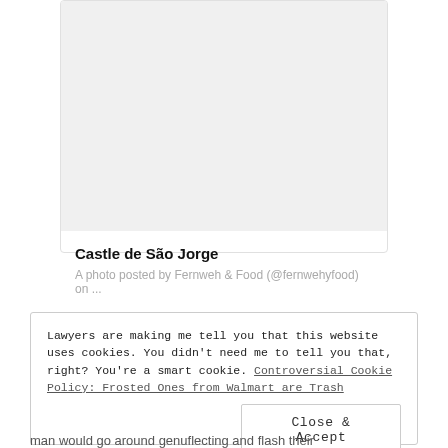[Figure (photo): Photo placeholder area for Castle de São Jorge image, light gray background]
Castle de São Jorge
A photo posted by Fernweh & Food (@fernwehyfood) on ...
Lawyers are making me tell you that this website uses cookies. You didn't need me to tell you that, right? You're a smart cookie. Controversial Cookie Policy: Frosted Ones from Walmart are Trash
Close & Accept
man would go around genuflecting and flash their